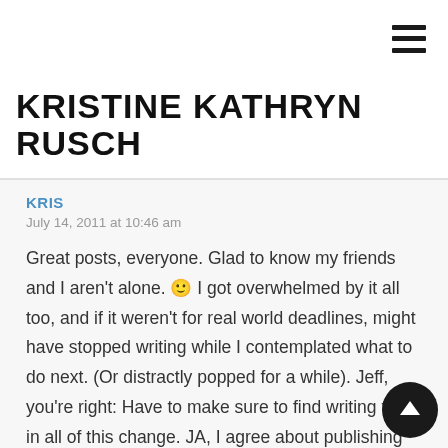☰ (menu icon)
KRISTINE KATHRYN RUSCH
KRIS
July 14, 2011 at 10:46 am
Great posts, everyone. Glad to know my friends and I aren't alone. 🙂 I got overwhelmed by it all too, and if it weren't for real world deadlines, might have stopped writing while I contemplated what to do next. (Or distractly popped for a while). Jeff, you're right: Have to make sure to find writing time in all of this change. JA, I agree about publishing taking time. Not when you count all the lost time to traditional publishing habits! (I've